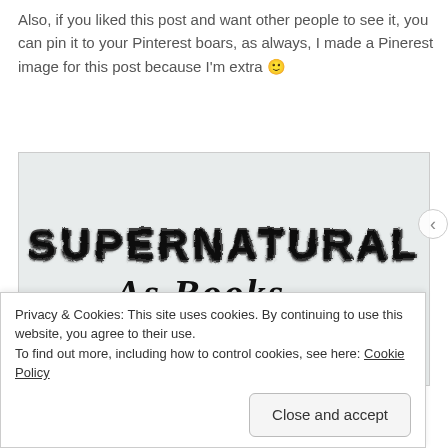Also, if you liked this post and want other people to see it, you can pin it to your Pinterest boars, as always, I made a Pinerest image for this post because I'm extra 🙂
[Figure (illustration): Light grey background image with stylized text reading 'SUPERNATURAL As Books...' - SUPERNATURAL in a spiky horror font, 'As Books...' in a handwritten cursive font]
Privacy & Cookies: This site uses cookies. By continuing to use this website, you agree to their use.
To find out more, including how to control cookies, see here: Cookie Policy